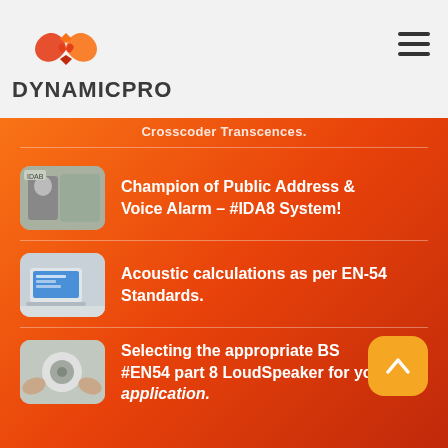DYNAMICPRO
Crosscoder Transcences.
Champion of Public Address & Voice Alarm – #IDA8 System!
Acoustic calculations as per EN-54 Standards.
Selecting the appropriate BS #EN54 part 8 LoudSpeaker for your application.